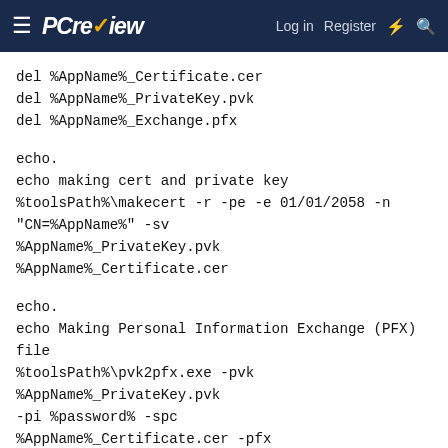PCreview — Log in | Register
del %AppName%_Certificate.cer
del %AppName%_PrivateKey.pvk
del %AppName%_Exchange.pfx
echo.
echo making cert and private key
%toolsPath%\makecert -r -pe -e 01/01/2058 -n
"CN=%AppName%" -sv
%AppName%_PrivateKey.pvk %AppName%_Certificate.cer
echo.
echo Making Personal Information Exchange (PFX) file
%toolsPath%\pvk2pfx.exe -pvk %AppName%_PrivateKey.pvk
-pi %password% -spc
%AppName%_Certificate.cer -pfx %AppName%_Exchange.pfx
-po %password%